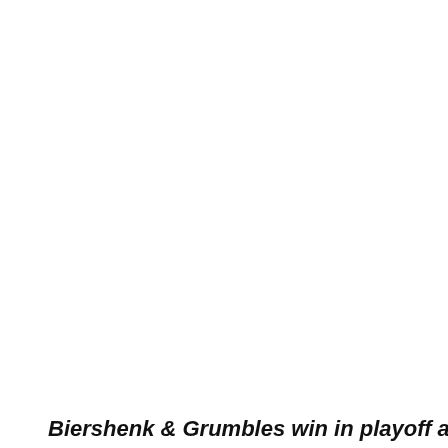[Figure (photo): Horizontal decorative or separator line with a dark teal/slate texture, positioned in the lower portion of the page]
Biershenk & Grumbles win in playoff at O